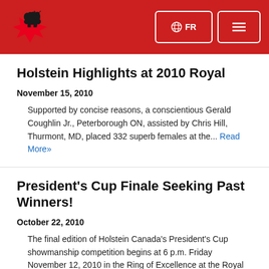Holstein Canada — FR | Menu
Holstein Highlights at 2010 Royal
November 15, 2010
Supported by concise reasons, a conscientious Gerald Coughlin Jr., Peterborough ON, assisted by Chris Hill, Thurmont, MD, placed 332 superb females at the... Read More»
President's Cup Finale Seeking Past Winners!
October 22, 2010
The final edition of Holstein Canada's President's Cup showmanship competition begins at 6 p.m. Friday November 12, 2010 in the Ring of Excellence at the Royal Agricultural... Read More»